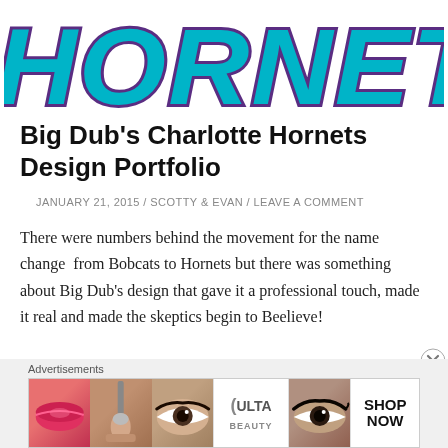[Figure (logo): Charlotte Hornets logo text in teal with purple outline, large italic text reading HORNETS, partially cropped at top]
Big Dub’s Charlotte Hornets Design Portfolio
JANUARY 21, 2015 / SCOTTY & EVAN / LEAVE A COMMENT
There were numbers behind the movement for the name change  from Bobcats to Hornets but there was something about Big Dub’s design that gave it a professional touch, made it real and made the skeptics begin to Beelieve!
[Figure (advertisement): Advertisements banner with cosmetics ad showing lips, makeup brush, eye with mascara, ULTA Beauty logo, eye close-up, and SHOP NOW button]